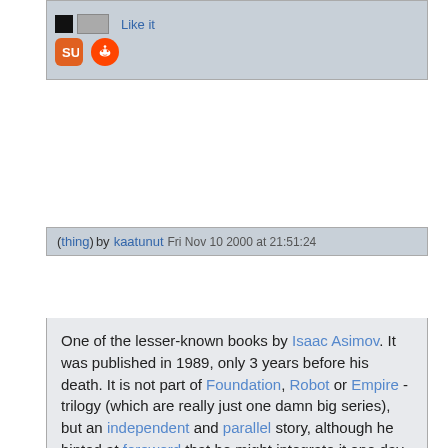[Figure (screenshot): Top portion of a webpage showing social sharing icons including a black square icon, a person/image icon, a 'Like it' link, a StumbleUpon icon, and a Reddit icon on a grey background.]
(thing) by kaatunut  Fri Nov 10 2000 at 21:51:24
One of the lesser-known books by Isaac Asimov. It was published in 1989, only 3 years before his death. It is not part of Foundation, Robot or Empire - trilogy (which are really just one damn big series), but an independent and parallel story, although he hinted at foreword that he might integrate it one day.

Story of Nemesis starts at 23rd century. Earth has populated